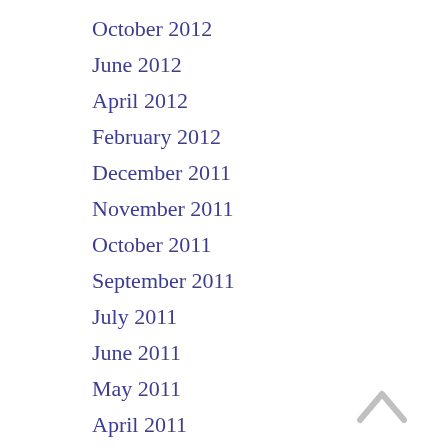October 2012
June 2012
April 2012
February 2012
December 2011
November 2011
October 2011
September 2011
July 2011
June 2011
May 2011
April 2011
March 2011
[Figure (other): Back to top chevron arrow icon, light grey, pointing upward]